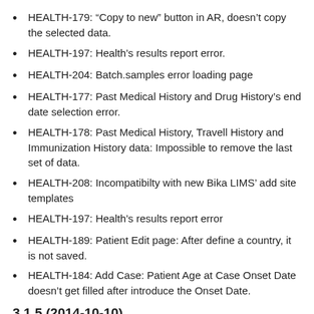HEALTH-179: “Copy to new” button in AR, doesn’t copy the selected data.
HEALTH-197: Health’s results report error.
HEALTH-204: Batch.samples error loading page
HEALTH-177: Past Medical History and Drug History’s end date selection error.
HEALTH-178: Past Medical History, Travell History and Immunization History data: Impossible to remove the last set of data.
HEALTH-208: Incompatibilty with new Bika LIMS’ add site templates
HEALTH-197: Health’s results report error
HEALTH-189: Patient Edit page: After define a country, it is not saved.
HEALTH-184: Add Case: Patient Age at Case Onset Date doesn’t get filled after introduce the Onset Date.
3.1.5 (2014-10-10)